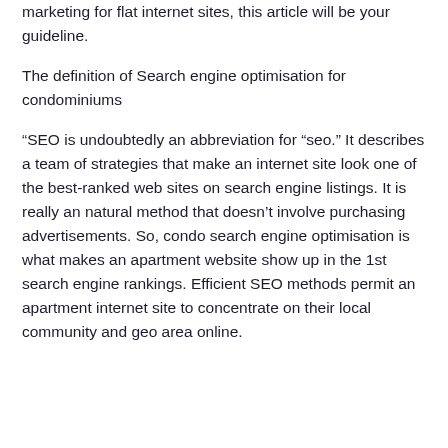marketing for flat internet sites, this article will be your guideline.
The definition of Search engine optimisation for condominiums
“SEO is undoubtedly an abbreviation for “seo.” It describes a team of strategies that make an internet site look one of the best-ranked web sites on search engine listings. It is really an natural method that doesn’t involve purchasing advertisements. So, condo search engine optimisation is what makes an apartment website show up in the 1st search engine rankings. Efficient SEO methods permit an apartment internet site to concentrate on their local community and geo area online.